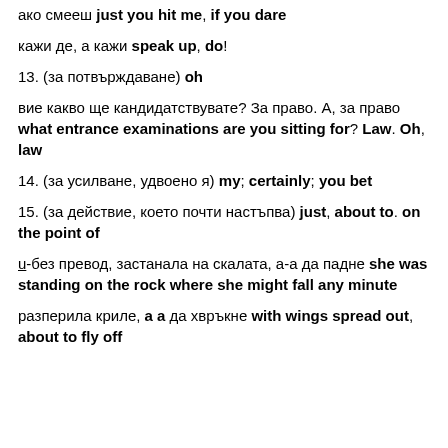ако смееш just you hit me, if you dare
кажи де, а кажи speak up, do!
13. (за потвърждаване) oh
вие какво ще кандидатствувате? За право. А, за право what entrance examinations are you sitting for? Law. Oh, law
14. (за усилване, удвоено я) my; certainly; you bet
15. (за действие, което почти настъпва) just, about to. on the point of
u-без превод, застанала на скалата, а-а да падне she was standing on the rock where she might fall any minute
разперила криле, a a да хвръкне with wings spread out, about to fly off